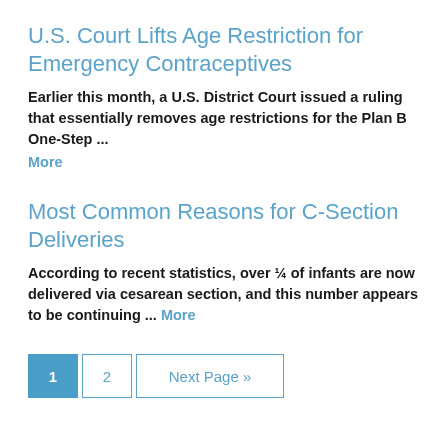U.S. Court Lifts Age Restriction for Emergency Contraceptives
Earlier this month, a U.S. District Court issued a ruling that essentially removes age restrictions for the Plan B One-Step ... More
Most Common Reasons for C-Section Deliveries
According to recent statistics, over ¼ of infants are now delivered via cesarean section, and this number appears to be continuing ... More
1  2  Next Page »